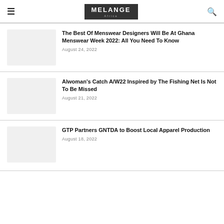MELANGE Africa
The Best Of Menswear Designers Will Be At Ghana Menswear Week 2022: All You Need To Know
August 24, 2022
Alwoman's Catch A/W22 Inspired by The Fishing Net Is Not To Be Missed
August 21, 2022
GTP Partners GNTDA to Boost Local Apparel Production
August 18, 2022